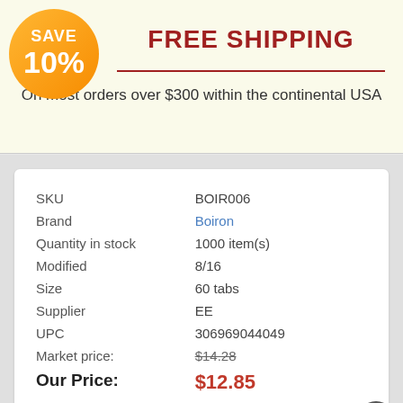[Figure (infographic): Orange circular badge with text SAVE 10%]
FREE SHIPPING
On most orders over $300 within the continental USA
| SKU | BOIR006 |
| Brand | Boiron |
| Quantity in stock | 1000 item(s) |
| Modified | 8/16 |
| Size | 60 tabs |
| Supplier | EE |
| UPC | 306969044049 |
| Market price: | $14.28 |
| Our Price: | $12.85 |